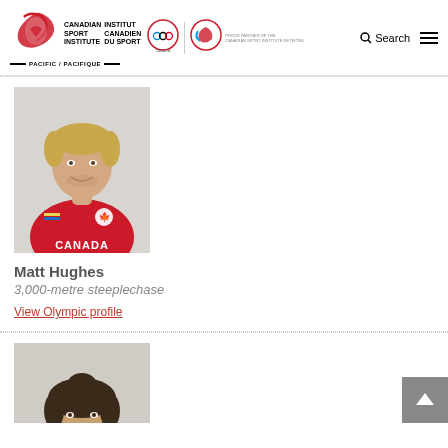[Figure (logo): Canadian Sport Institute Pacific / Institut Canadien du Sport logo with navigation bar including Olympic and Paralympic partner logos, search button, and hamburger menu]
[Figure (photo): Headshot of Matt Hughes in a red Canada jersey, blonde hair, smiling, against a light grey background]
Matt Hughes
3,000-metre steeplechase
View Olympic profile
[Figure (photo): Partial headshot of a second athlete with dark hair pulled back, partially visible at bottom of page]